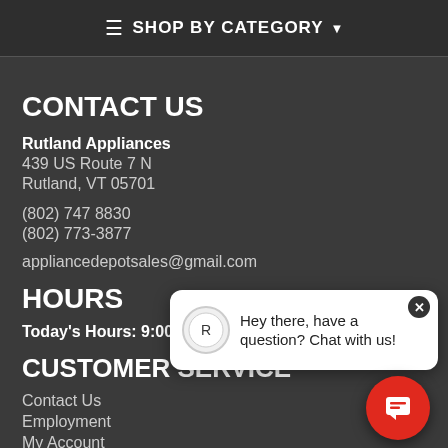≡ SHOP BY CATEGORY ▾
CONTACT US
Rutland Appliances
439 US Route 7 N
Rutland, VT 05701
(802) 747 8830
(802) 773-3877
appliancedepotsales@gmail.com
HOURS
Today's Hours: 9:00 AM - 4
CUSTOMER SERVICE
Contact Us
Employment
My Account
Financing
[Figure (screenshot): Chat popup with avatar and message: Hey there, have a question? Chat with us!]